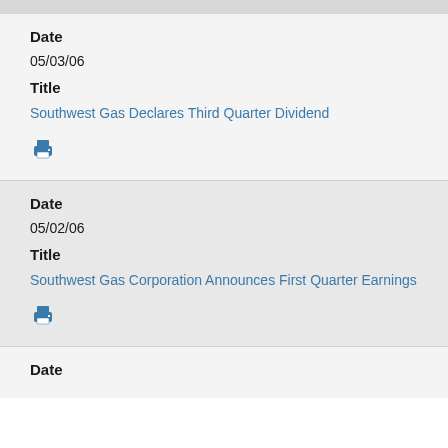Date
05/03/06
Title
Southwest Gas Declares Third Quarter Dividend
[Figure (other): Print icon]
Date
05/02/06
Title
Southwest Gas Corporation Announces First Quarter Earnings
[Figure (other): Print icon]
Date